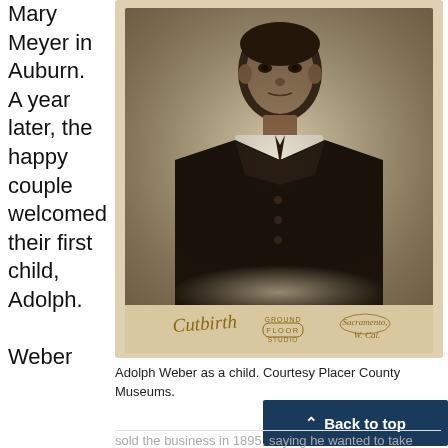Mary Meyer in Auburn. A year later, the happy couple welcomed their first child, Adolph.
[Figure (photo): Sepia-toned cabinet card portrait photograph of a young boy (Adolph Weber as a child) wearing a dark double-breasted suit jacket. The photo has a studio imprint at the bottom reading 'Cutbirth Ground Floor Studio Sacramento, Cal.']
Adolph Weber as a child. Courtesy Placer County Museums.
Weber sold the business in 1895, saying he wanted to take